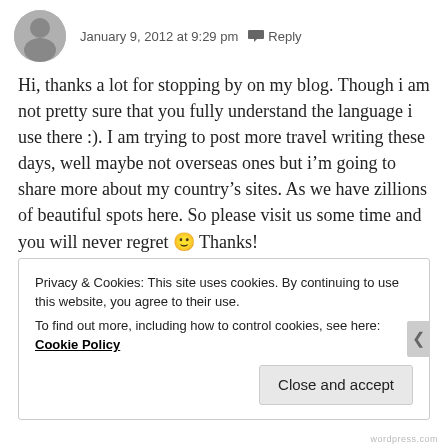[Figure (photo): Circular avatar photo of a person in dark clothing]
January 9, 2012 at 9:29 pm  Reply
Hi, thanks a lot for stopping by on my blog. Though i am not pretty sure that you fully understand the language i use there :). I am trying to post more travel writing these days, well maybe not overseas ones but i'm going to share more about my country's sites. As we have zillions of beautiful spots here. So please visit us some time and you will never regret 🙂 Thanks!
★ Like
Privacy & Cookies: This site uses cookies. By continuing to use this website, you agree to their use.
To find out more, including how to control cookies, see here: Cookie Policy
Close and accept